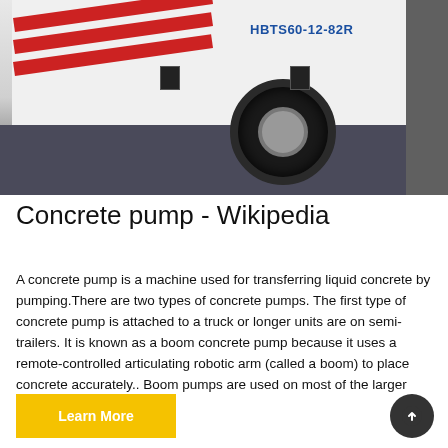[Figure (photo): A concrete pump truck (model HBTS60-12-82R) with white body panel featuring red diagonal stripes, dark lower chassis, and a large truck tire visible. A dark container is on the right side.]
Concrete pump - Wikipedia
A concrete pump is a machine used for transferring liquid concrete by pumping.There are two types of concrete pumps. The first type of concrete pump is attached to a truck or longer units are on semi-trailers. It is known as a boom concrete pump because it uses a remote-controlled articulating robotic arm (called a boom) to place concrete accurately.. Boom pumps are used on most of the larger